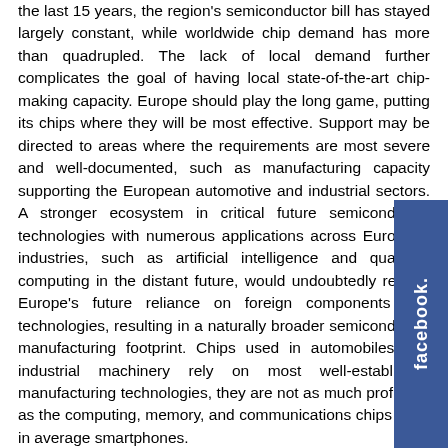the last 15 years, the region's semiconductor bill has stayed largely constant, while worldwide chip demand has more than quadrupled. The lack of local demand further complicates the goal of having local state-of-the-art chip-making capacity. Europe should play the long game, putting its chips where they will be most effective. Support may be directed to areas where the requirements are most severe and well-documented, such as manufacturing capacity supporting the European automotive and industrial sectors. A stronger ecosystem in critical future semiconductor technologies with numerous applications across European industries, such as artificial intelligence and quantum computing in the distant future, would undoubtedly reduce Europe's future reliance on foreign components and technologies, resulting in a naturally broader semiconductor manufacturing footprint. Chips used in automobiles and industrial machinery rely on most well-established manufacturing technologies, they are not as much profitable as the computing, memory, and communications chips used in average smartphones.
[Figure (logo): Facebook tab/button on the right side of the page, blue background with 'facebook.' text rotated vertically]